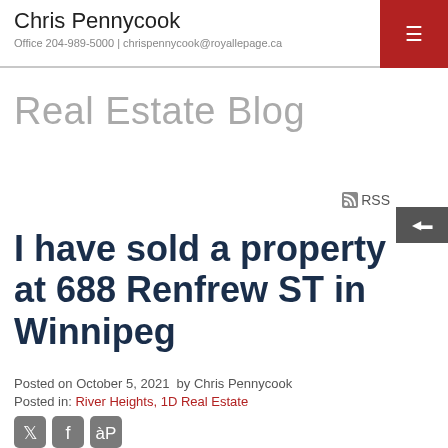Chris Pennycook
Office 204-989-5000 | chrispennycook@royallepage.ca
Real Estate Blog
I have sold a property at 688 Renfrew ST in Winnipeg
Posted on October 5, 2021  by Chris Pennycook
Posted in: River Heights, 1D Real Estate